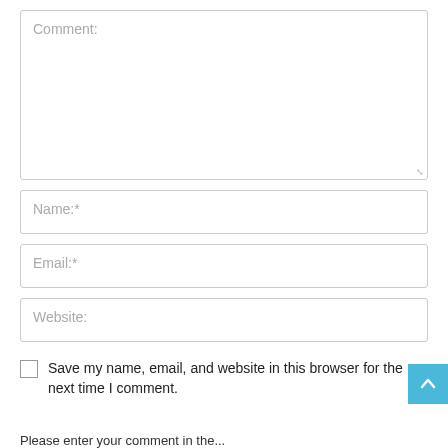Comment:
Name:*
Email:*
Website:
Save my name, email, and website in this browser for the next time I comment.
Please enter your comment in the...